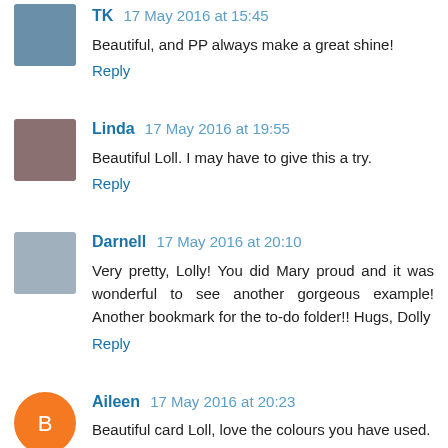TK 17 May 2016 at 15:45
Beautiful, and PP always make a great shine!
Reply
Linda 17 May 2016 at 19:55
Beautiful Loll. I may have to give this a try.
Reply
Darnell 17 May 2016 at 20:10
Very pretty, Lolly! You did Mary proud and it was wonderful to see another gorgeous example! Another bookmark for the to-do folder!! Hugs, Dolly
Reply
Aileen 17 May 2016 at 20:23
Beautiful card Loll, love the colours you have used.
Reply